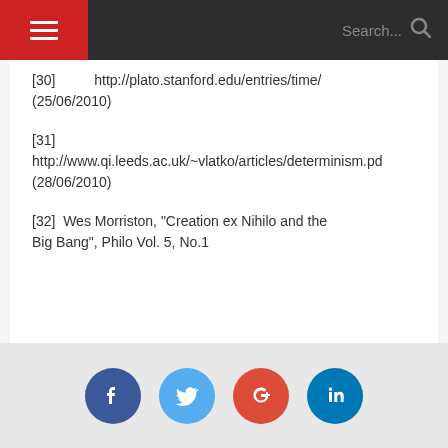Navigation bar with hamburger menu and search
[30]          http://plato.stanford.edu/entries/time/ (25/06/2010)
[31] http://www.qi.leeds.ac.uk/~vlatko/articles/determinism.pd (28/06/2010)
[32] Wes Morriston, "Creation ex Nihilo and the Big Bang", Philo Vol. 5, No.1
Social sharing buttons: Facebook, Twitter, Google+, LinkedIn